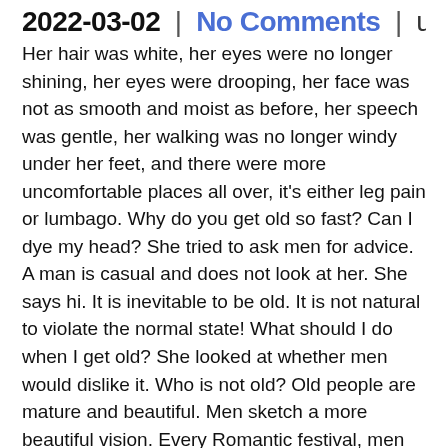2022-03-02 | No Comments | uzddni
Her hair was white, her eyes were no longer shining, her eyes were drooping, her face was not as smooth and moist as before, her speech was gentle, her walking was no longer windy under her feet, and there were more uncomfortable places all over, it's either leg pain or lumbago. Why do you get old so fast? Can I dye my head? She tried to ask men for advice. A man is casual and does not look at her. She says hi. It is inevitable to be old. It is not natural to violate the normal state! What should I do when I get old? She looked at whether men would dislike it. Who is not old? Old people are mature and beautiful. Men sketch a more beautiful vision. Every Romantic festival, men and women walking through the street, bold flowers in their...